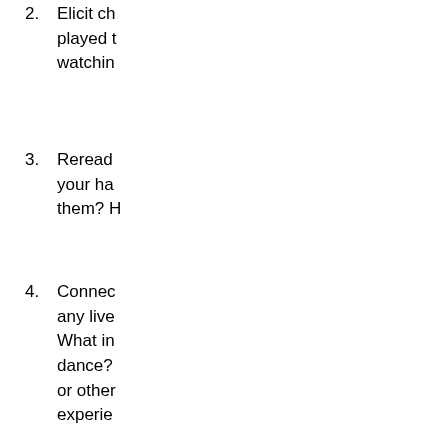2. Elicit children's responses as they played the game and/or enjoyed watching it.
3. Reread [book title]. Do you recognize your hands in this book? Can you find them? How?
4. Connect the book's content to any live dance performance. What instruments are used in dance? What other arts (visual arts or other music) do you see or experience?
5. Have students look through the book alone, in pairs, or in a small group more carefully.
Second Rea